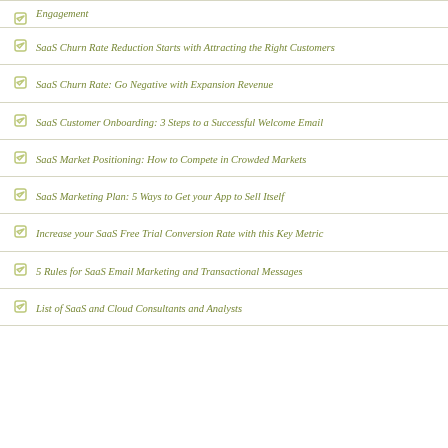Engagement
SaaS Churn Rate Reduction Starts with Attracting the Right Customers
SaaS Churn Rate: Go Negative with Expansion Revenue
SaaS Customer Onboarding: 3 Steps to a Successful Welcome Email
SaaS Market Positioning: How to Compete in Crowded Markets
SaaS Marketing Plan: 5 Ways to Get your App to Sell Itself
Increase your SaaS Free Trial Conversion Rate with this Key Metric
5 Rules for SaaS Email Marketing and Transactional Messages
List of SaaS and Cloud Consultants and Analysts